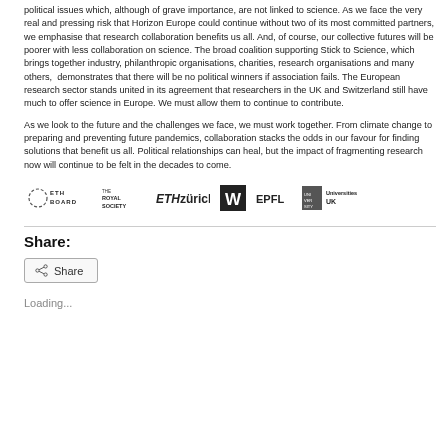political issues which, although of grave importance, are not linked to science. As we face the very real and pressing risk that Horizon Europe could continue without two of its most committed partners, we emphasise that research collaboration benefits us all. And, of course, our collective futures will be poorer with less collaboration on science. The broad coalition supporting Stick to Science, which brings together industry, philanthropic organisations, charities, research organisations and many others, demonstrates that there will be no political winners if association fails. The European research sector stands united in its agreement that researchers in the UK and Switzerland still have much to offer science in Europe. We must allow them to continue to contribute.
As we look to the future and the challenges we face, we must work together. From climate change to preparing and preventing future pandemics, collaboration stacks the odds in our favour for finding solutions that benefit us all. Political relationships can heal, but the impact of fragmenting research now will continue to be felt in the decades to come.
[Figure (logo): Row of organization logos: ETH Board, The Royal Society, ETH Zürich, W (Wellcome), EPFL, Universities UK]
Share:
Share
Loading...